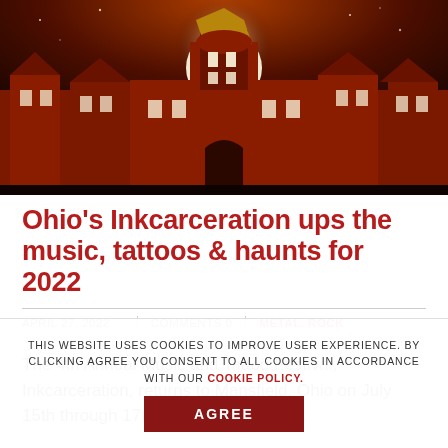[Figure (illustration): Dark atmospheric illustration of a large gothic/Victorian red brick building (Mansfield Reformatory) at night, with a large white full moon behind the central dome/tower, red and orange gradient sky, ornate architecture with multiple wings]
Ohio's Inkcarceration ups the music, tattoos & haunts for 2022
APRIL 27, 2022  |  COMMENTS 0  |  METAL, ROCK
The 4th Annual Music and Tattoo Festival, Inkcarceration, returns to Mansfield, Ohio on July 15th through 17th! This three-day fest
THIS WEBSITE USES COOKIES TO IMPROVE USER EXPERIENCE. BY CLICKING AGREE YOU CONSENT TO ALL COOKIES IN ACCORDANCE WITH OUR COOKIE POLICY.